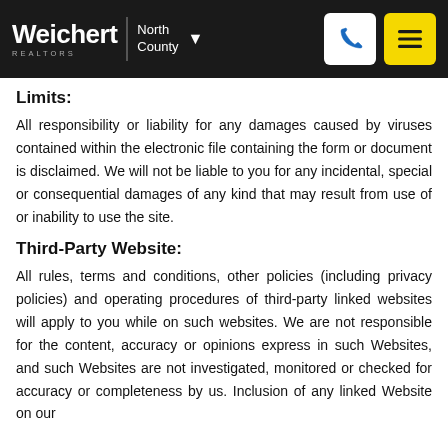Weichert Realtors North County
Limits:
All responsibility or liability for any damages caused by viruses contained within the electronic file containing the form or document is disclaimed. We will not be liable to you for any incidental, special or consequential damages of any kind that may result from use of or inability to use the site.
Third-Party Website:
All rules, terms and conditions, other policies (including privacy policies) and operating procedures of third-party linked websites will apply to you while on such websites. We are not responsible for the content, accuracy or opinions express in such Websites, and such Websites are not investigated, monitored or checked for accuracy or completeness by us. Inclusion of any linked Website on our